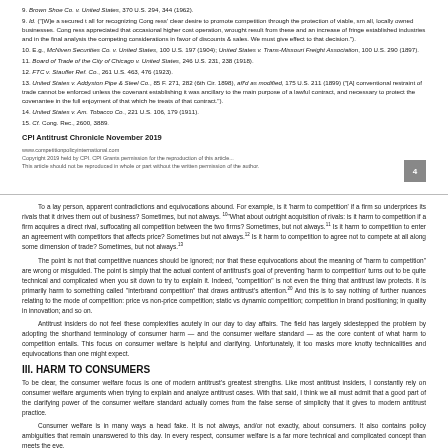9. Brown Shoe Co. v. United States, 370 U.S. 294, 344 (1962).
9. Id. ("[W]e are all for recognizing Congress' clear desire to promote competition through the protection of viable, small, locally owned businesses. Congress appreciated that occasional higher cost operation, wrought results from these and an increase of fringe established industries and in the final analysis, the competing considerations in favor of discounts & sales. We must give effect to that decision.").
10. E.g., McNiven Securities Co. v. United States, 100 U.S. 197 (1904); United States v. Trans-Missouri Freight Association, 100 U.S. 290 (1897).
11. Board of Trade of the City of Chicago v. United States, 246 U.S. 231, 238 (1918).
12. FTC v. Stauffer Ref. Co., 261 U.S. 463, 476 (1923).
13. United States v. Addyston Pipe & Steel Co., 85 F. 271, 282 (6th Cir. 1898), aff'd as modified, 175 U.S. 211 (1899) ("[A] conventional restraint of trade cannot be enforced unless the covenant establishing it was ancillary to the main purpose of a lawful contract, and necessary to protect the covenantee in the full enjoyment of that which he treats of that contract.").
14. United States v. Am. Tobacco Co., 221 U.S. 106, 179 (1911).
15. Cf. Cong. Rec., 2600, 3889.
CPI Antitrust Chronicle November 2019
www.competitionpolicyinternational.com
Copyright 2019 held by CPI. CPI Grants permission for the reproduction of this article...
This article should not be reproduced in whole or part without the written permission of the author.
To a lay person, apparent contradictions and equivocations abound. For example, is it 'harm to competition' if a firm so underprices its rivals that it drives them out of business? Sometimes, but not always. What about outright acquisition of rivals: is it harm to competition if a firm acquires a direct rival, suffocating all competition between the two firms? Sometimes, but not always. Is it harm to competition to enter an agreement with competitors that affects price? Sometimes but not always. Is it harm to competition to agree not to compete at all along some dimension of trade? Sometimes, but not always.
The point is not that competitive nuances should be ignored; nor that these equivocations about the meaning of 'harm to competition' are wrong or misguided. The point is simply that the actual content of antitrust's goal of preventing 'harm to competition' turns out to be quite technical and complicated when you sit down to try to explain it. Indeed, 'competition' is not even the thing that antitrust law protects. It is primarily harm to something called 'interbrand competition' that draws antitrust's attention. And this is to say nothing of further nuances relating to the mode of competition: price vs non-price competition; static vs dynamic competition; competition in brand positioning; in quality in innovation; and so on.
Antitrust insiders do not feel these complexities acutely in our day to day affairs. The field has largely sidestepped the problem by adopting the shorthand terminology of consumer harm — and the consumer welfare standard — as the core content of what harm to competition entails. This focus on consumer welfare is helpful and clarifying. Unfortunately, it too masks more knotty technicalities and equivocations than one might expect.
III. HARM TO CONSUMERS
To be clear, the consumer welfare focus is one of modern antitrust's greatest strengths. Like most antitrust insiders, I constantly rely on consumer welfare arguments when trying to explain and analyze antitrust cases. With that said, I think we all must admit that a good part of the clarifying power of the consumer welfare standard actually comes from the false sense of simplicity that it gives to modern antitrust practice.
Consumer welfare is in many ways a head fake. It is not always, and/or not exactly, about consumers. It also contains policy ambiguities that remain unanswered to this day. In every respect, consumer welfare is a far more technical and complicated concept than meets the eye.